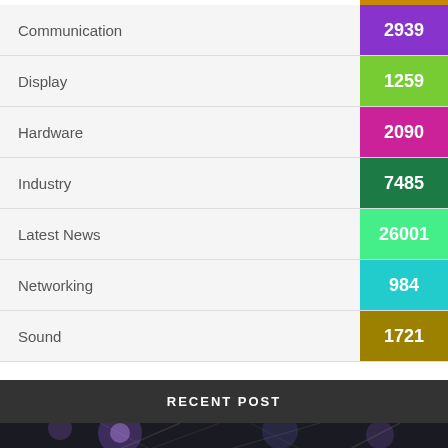| Category | Count |
| --- | --- |
| Communication | 2939 |
| Display | 1259 |
| Hardware | 2090 |
| Industry | 7485 |
| Latest News | 26001 |
| Networking | 984 |
| Sound | 1721 |
RECENT POST
[Figure (photo): Dark photo with purple stage lights and structural beams]